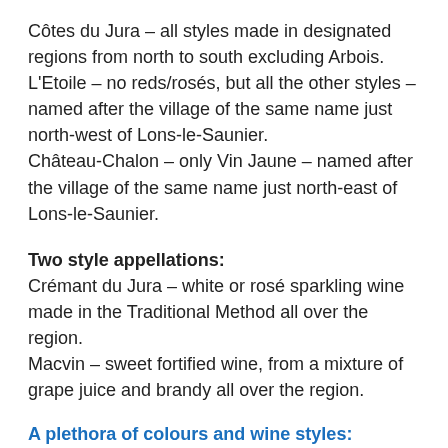Côtes du Jura – all styles made in designated regions from north to south excluding Arbois.
L'Etoile – no reds/rosés, but all the other styles – named after the village of the same name just north-west of Lons-le-Saunier.
Château-Chalon – only Vin Jaune – named after the village of the same name just north-east of Lons-le-Saunier.
Two style appellations:
Crémant du Jura – white or rosé sparkling wine made in the Traditional Method all over the region.
Macvin – sweet fortified wine, from a mixture of grape juice and brandy all over the region.
A plethora of colours and wine styles:
Reds that look like dark rosés, but are made in a red wine